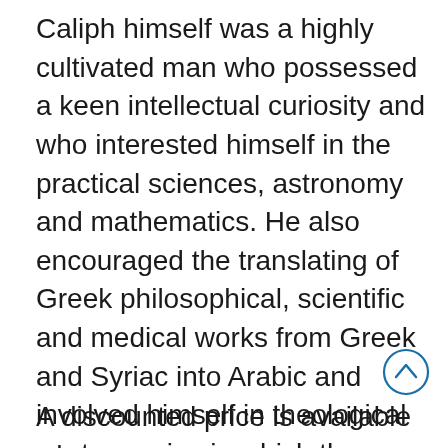Caliph himself was a highly cultivated man who possessed a keen intellectual curiosity and who interested himself in the practical sciences, astronomy and mathematics. He also encouraged the translating of Greek philosophical, scientific and medical works from Greek and Syriac into Arabic and involved himself in theological controversies in which the dialectical techniques of the Greek thinkers were to figure. Tabari's history of this period constitutes a prime source for political and military history. His racy and vivid style, including many verbatim conversations and documents, brings the Caliphate of al-Ma'mum very much alive.
A discounted price is available when
[Figure (other): A circular scroll-up navigation button with an upward chevron arrow inside a circle outline]